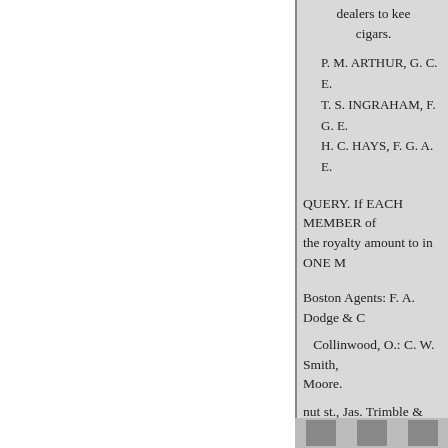dealers to kee cigars.
P. M. ARTHUR, G. C. E.
T. S. INGRAHAM, F. G. E.
H. C. HAYS, F. G. A. E.
QUERY. If EACH MEMBER of the royalty amount to in ONE M
Boston Agents: F. A. Dodge & C
Collinwood, O.: C. W. Smith, Moore.
nut st., Jas. Trimble & Co., 505 & Co.
Des Moines, Iowa, Warfield,
Lincoln, Neb.: Brown & Patri
United States Metallic Packing C
. Office, 267 S. Fourth St. PH H. HOLLIS, Sec. & Treas. E. P.
[Figure (photo): Small thumbnail images at the bottom of the page]